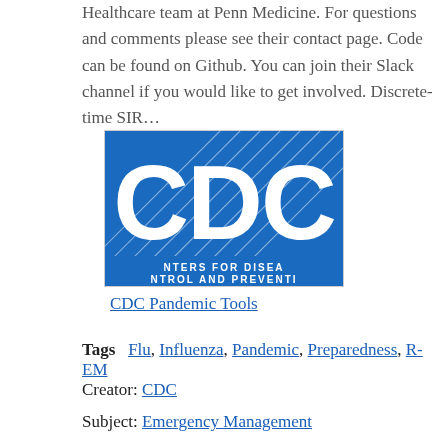Healthcare team at Penn Medicine. For questions and comments please see their contact page. Code can be found on Github. You can join their Slack channel if you would like to get involved. Discrete-time SIR…
[Figure (logo): CDC logo — Centers for Disease Control and Prevention logo, blue square with large white CDC letters and diagonal lines, partial text 'NTERS FOR DISEA NTROL AND PREVENTI' visible at bottom]
CDC Pandemic Tools
Tags   Flu, Influenza, Pandemic, Preparedness, R-EM
Creator: CDC
Subject: Emergency Management